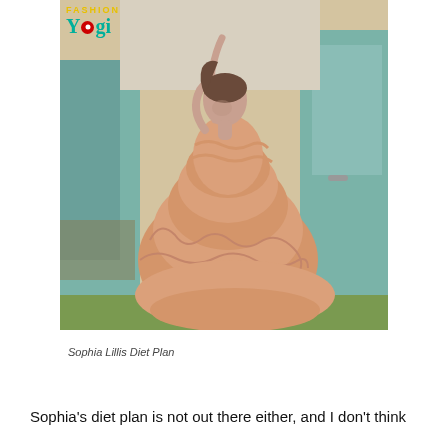[Figure (photo): A young woman in a voluminous ruffled peach/salmon tiered ball gown posed next to a vintage teal/turquoise truck with the door open. She has her arm raised above her head. The photo has a fashion editorial style. A website logo 'Yogi' with colorful text overlay appears in the top left of the image.]
Sophia Lillis Diet Plan
Sophia's diet plan is not out there either, and I don't think